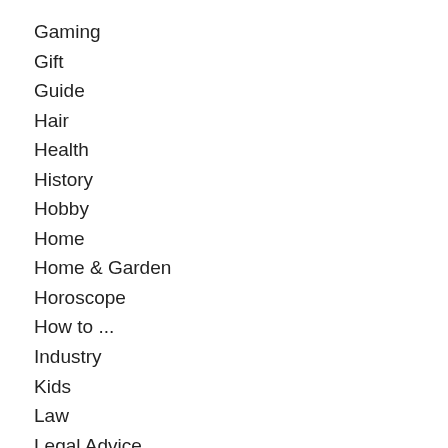Gaming
Gift
Guide
Hair
Health
History
Hobby
Home
Home & Garden
Horoscope
How to ...
Industry
Kids
Law
Legal Advice